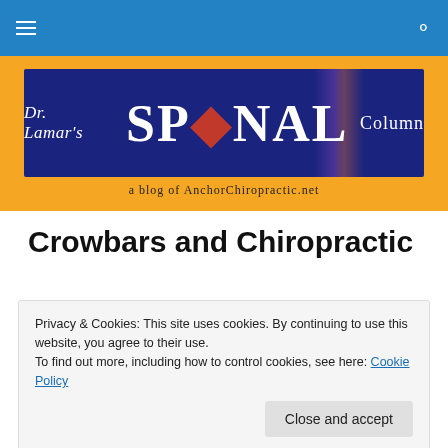Navigation bar with menu and search icons
[Figure (logo): Dr. Lamar's SPINAL Column - a blog of AnchorChiropractic.net banner logo on orange background]
Crowbars and Chiropractic
Privacy & Cookies: This site uses cookies. By continuing to use this website, you agree to their use. To find out more, including how to control cookies, see here: Cookie Policy
Close and accept